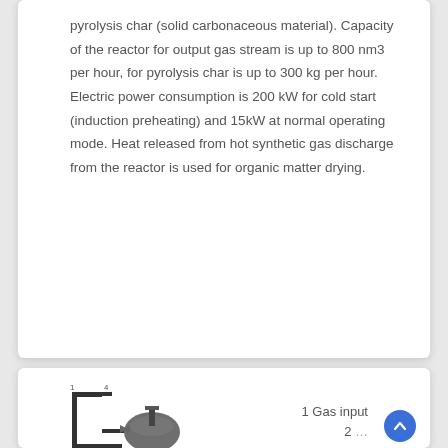pyrolysis char (solid carbonaceous material). Capacity of the reactor for output gas stream is up to 800 nm3 per hour, for pyrolysis char is up to 300 kg per hour. Electric power consumption is 200 kW for cold start (induction preheating) and 15kW at normal operating mode. Heat released from hot synthetic gas discharge from the reactor is used for organic matter drying.
[Figure (engineering-diagram): Engineering schematic of a reactor/gasifier unit with labeled components. Label 1 indicates Gas input. Partial view showing pipes and equipment at bottom of page.]
1 Gas input